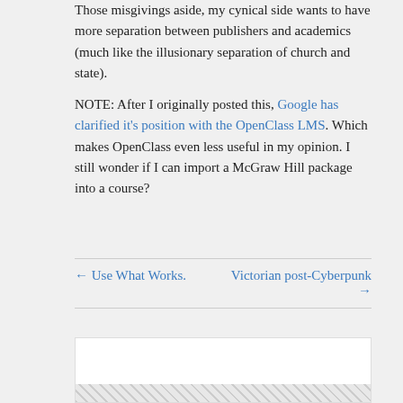Those misgivings aside, my cynical side wants to have more separation between publishers and academics (much like the illusionary separation of church and state).
NOTE: After I originally posted this, Google has clarified it's position with the OpenClass LMS. Which makes OpenClass even less useful in my opinion. I still wonder if I can import a McGraw Hill package into a course?
← Use What Works.
Victorian post-Cyberpunk →